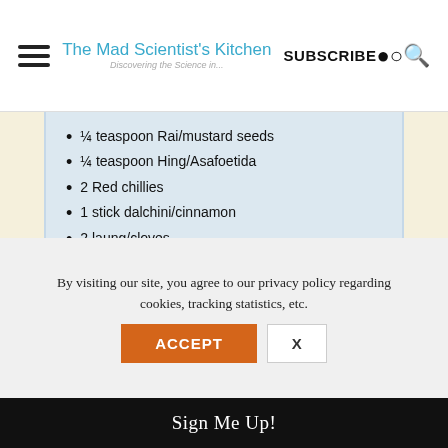The Mad Scientist's Kitchen | SUBSCRIBE
¼ teaspoon Rai/mustard seeds
¼ teaspoon Hing/Asafoetida
2 Red chillies
1 stick dalchini/cinnamon
2 laung/cloves
For Garnishing and Serving:
4 tablespoon dhania/ coriander leaves chopped
1 tablespoon Ghee
Instructions
By visiting our site, you agree to our privacy policy regarding cookies, tracking statistics, etc.
ACCEPT
X
Sign Me Up!